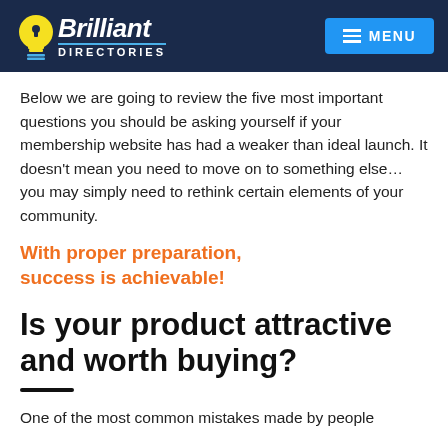Brilliant Directories | MENU
Below we are going to review the five most important questions you should be asking yourself if your membership website has had a weaker than ideal launch. It doesn't mean you need to move on to something else… you may simply need to rethink certain elements of your community.
With proper preparation, success is achievable!
Is your product attractive and worth buying?
One of the most common mistakes made by people